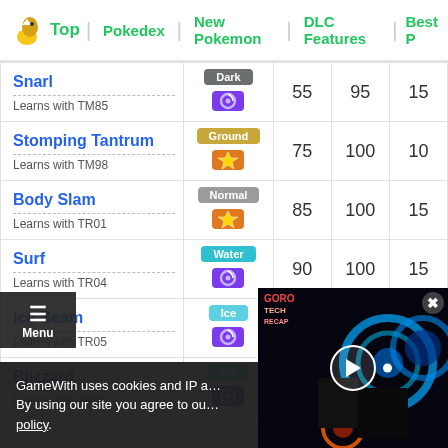Top | Pokedex | New Pokemon | DLC Features | Best P
| Move | Type/Category | Power | Accuracy | PP |
| --- | --- | --- | --- | --- |
| Snarl
Learns with TM85 | Dark | 55 | 95 | 15 |
| Stomping Tantrum
Learns with TM98 | Ground | 75 | 100 | 10 |
| Body Slam
Learns with TR01 | Normal | 85 | 100 | 15 |
| Surf
Learns with TR04 | Water | 90 | 100 | 15 |
| Ice Beam
Learns with TR05 | Ice | 90 | 100 | 10 |
| Blizzard
Learns with TR06 | Ice |  |  |  |
GameWith uses cookies and IP a... By using our site you agree to ou... policy.